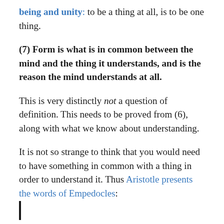being and unity: to be a thing at all, is to be one thing.
(7) Form is what is in common between the mind and the thing it understands, and is the reason the mind understands at all.
This is very distinctly not a question of definition. This needs to be proved from (6), along with what we know about understanding.
It is not so strange to think that you would need to have something in common with a thing in order to understand it. Thus Aristotle presents the words of Empedocles: